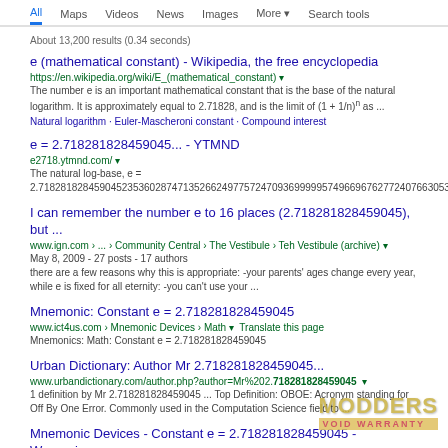All  Maps  Videos  News  Images  More ▾  Search tools
About 13,200 results (0.34 seconds)
e (mathematical constant) - Wikipedia, the free encyclopedia
https://en.wikipedia.org/wiki/E_(mathematical_constant) ▾
The number e is an important mathematical constant that is the base of the natural logarithm. It is approximately equal to 2.71828, and is the limit of (1 + 1/n)^n as ...
Natural logarithm · Euler-Mascheroni constant · Compound interest
e = 2.718281828459045... - YTMND
e2718.ytmnd.com/ ▾
The natural log-base, e = 2.71828182845904523536028747135266249775724709369999957496696762772407663053...
I can remember the number e to 16 places (2.718281828459045), but ...
www.ign.com › ... › Community Central › The Vestibule › Teh Vestibule (archive) ▾
May 8, 2009 - 27 posts - 17 authors
there are a few reasons why this is appropriate: -your parents' ages change every year, while e is fixed for all eternity: -you can't use your ...
Mnemonic: Constant e = 2.718281828459045
www.ict4us.com › Mnemonic Devices › Math ▾  Translate this page
Mnemonics: Math: Constant e = 2.718281828459045
Urban Dictionary: Author Mr 2.718281828459045...
www.urbandictionary.com/author.php?author=Mr%202.718281828459045  ▾
1 definition by Mr 2.718281828459045 ... Top Definition: OBOE: Acronym standing for Off By One Error. Commonly used in the Computation Science field to ...
Mnemonic Devices - Constant e = 2.718281828459045 - Wawewi.com
wdwww.com/mnemonics/index.php?p=305 ▾
Mnemonics: Math: Constant e = 2.718281828459045
what is so special about euler's number ? ( ie "e=2 ...
https://in.answers.yahoo.com/question/index?qid=20100127044933AA0V6b...
Jan 27, 2010 - why is it so special about it ? and why does it have that particular value
2.718281828459045 - Sites - Google